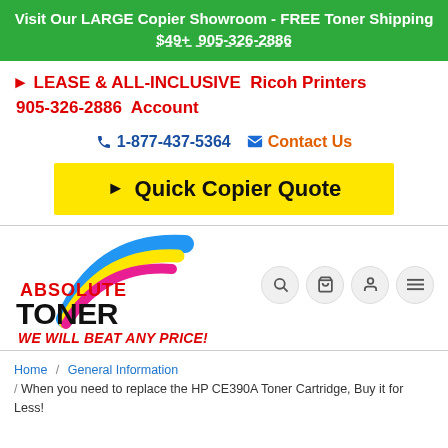Visit Our LARGE Copier Showroom - FREE Toner Shipping $49+ 905-326-2886
► LEASE & ALL-INCLUSIVE Ricoh Printers 905-326-2886 Account
📞 1-877-437-5364 ✉ Contact Us
► Quick Copier Quote
[Figure (logo): Absolute Toner logo with colorful arc swoosh in blue, yellow, and pink/magenta above the text ABSOLUTE TONER]
WE WILL BEAT ANY PRICE!
Home / General Information / When you need to replace the HP CE390A Toner Cartridge, Buy it for Less!